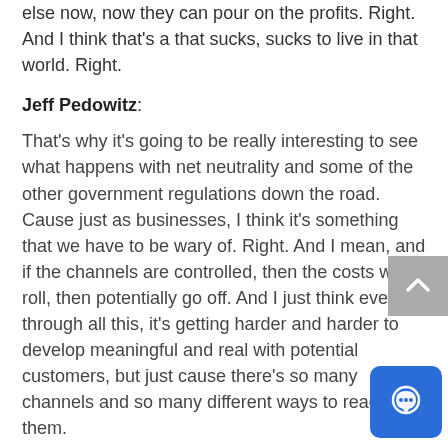else now, now they can pour on the profits. Right. And I think that's a that sucks, sucks to live in that world. Right.
Jeff Pedowitz:
That's why it's going to be really interesting to see what happens with net neutrality and some of the other government regulations down the road. Cause just as businesses, I think it's something that we have to be wary of. Right. And I mean, and if the channels are controlled, then the costs will roll, then potentially go off. And I just think even through all this, it's getting harder and harder to develop meaningful and real with potential customers, but just cause there's so many channels and so many different ways to reach them.
Rand Fishkin:
Oh, absolutely. Well, and I think that, you know, to the the exponential growth in the amount of noise and noise filte